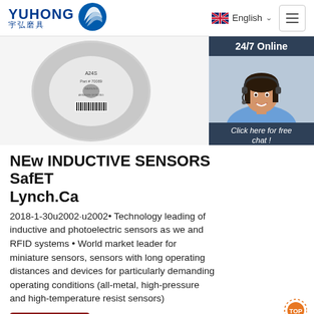YUHONG 宇弘磨具 | English
[Figure (photo): Grinding wheel/abrasive disc product photo with label showing Part #70089 and barcode. Adjacent is a 24/7 Online chat widget showing a female customer service representative wearing a headset, with 'Click here for free chat!' text and QUOTATION button in orange.]
NEw INDUCTIVE SENSORS SafET Lynch.Ca
2018-1-30u2002·u2002• Technology leading of inductive and photoelectric sensors as we and RFID systems • World market leader for miniature sensors, sensors with long operating distances and devices for particularly demanding operating conditions (all-metal, high-pressure and high-temperature resist sensors)
[Figure (other): TOP badge/watermark icon in orange and dotted style at bottom right of content area]
Get Price